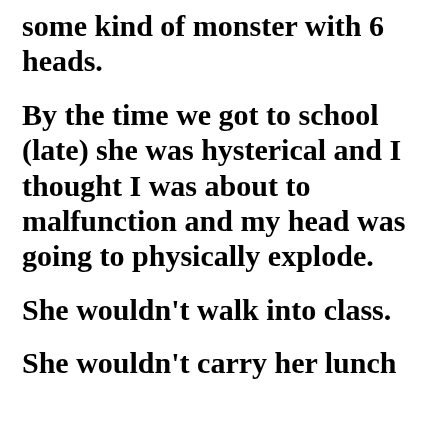some kind of monster with 6 heads.
By the time we got to school (late) she was hysterical and I thought I was about to malfunction and my head was going to physically explode.
She wouldn't walk into class.
She wouldn't carry her lunch